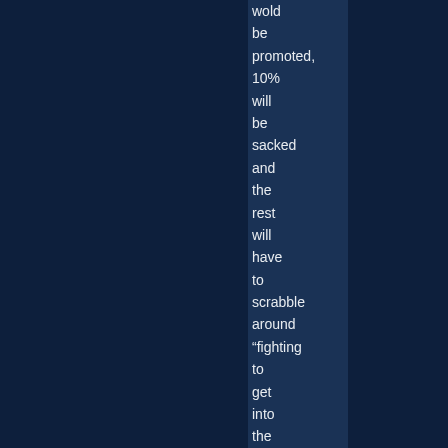wold be promoted, 10% will be sacked and the rest will have to scrabble around “fighting to get into the corner office”.